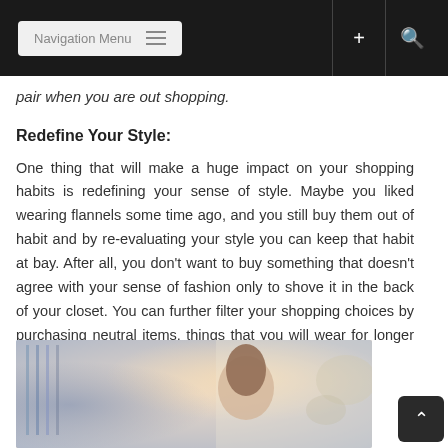Navigation Menu
pair when you are out shopping.
Redefine Your Style:
One thing that will make a huge impact on your shopping habits is redefining your sense of style. Maybe you liked wearing flannels some time ago, and you still buy them out of habit and by re-evaluating your style you can keep that habit at bay. After all, you don't want to buy something that doesn't agree with your sense of fashion only to shove it in the back of your closet. You can further filter your shopping choices by purchasing neutral items, things that you will wear for longer than one season.
[Figure (photo): A woman shopping for clothes, browsing through items on a rack in a store with blurred background.]